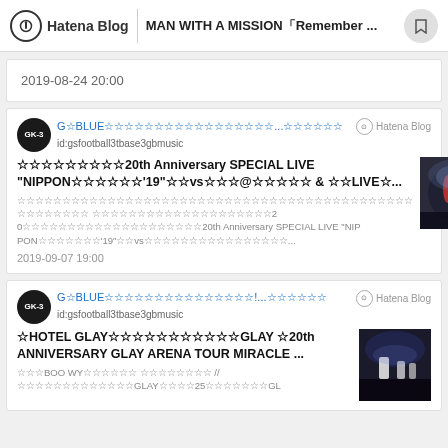Hatena Blog | MAN WITH A MISSION「Remember ...
2019-08-24 20:00
G☆BLUE☆☆☆☆☆☆☆☆☆☆☆☆☆☆☆☆☆...☆☆☆☆☆☆
id:gsfootball3tbase3gbmusic
☆☆☆☆☆☆☆☆☆20th Anniversary SPECIAL LIVE "NIPPON☆☆☆☆☆☆'19"☆☆vs☆☆☆@☆☆☆☆☆ & ☆☆LIVE☆...
☆☆☆☆☆☆☆☆☆☆☆☆☆☆☆☆☆☆☆☆☆☆☆☆☆☆☆☆☆☆☆☆☆☆☆☆☆☆☆☆☆☆☆☆ ☆☆☆☆☆☆☆☆ ☆☆☆☆☆☆☆☆☆☆☆☆☆☆☆☆☆☆☆☆2 0☆☆☆☆☆☆☆☆☆☆☆☆☆☆☆☆☆☆☆☆20th Anniversary SPECIAL LIVE "NIP PON☆☆☆☆☆☆☆'19"☆☆vs☆☆☆☆☆☆☆☆☆☆☆☆☆☆☆☆...
2019-09-07 19:00
G☆BLUE☆☆☆☆☆☆☆☆☆☆☆☆☆☆☆!...☆☆☆☆☆☆
id:gsfootball3tbase3gbmusic
☆HOTEL GLAY☆☆☆☆☆☆☆☆☆☆☆GLAY ☆20th ANNIVERSARY GLAY ARENA TOUR MIRACLE ...
☆☆☆BOO WY☆☆☆☆☆☆ ☆☆☆☆☆☆☆☆ // ☆☆☆☆☆☆☆☆☆☆☆☆☆GLAY☆☆☆☆25☆☆☆☆☆☆☆GL